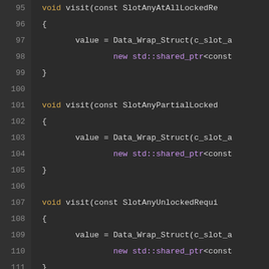[Figure (screenshot): Source code editor screenshot showing C++ code with line numbers 95-122. Dark theme code editor with syntax highlighting. Lines show void visit() method definitions for SlotAnyAtAllLockedRe, SlotAnyPartialLocked, SlotAnyUnlockedRequi, SlotUnknownRewritten types, each containing value = Data_Wrap_Struct(...) and new std::shared_ptr<const...> calls. Lines 118-121 show closing }; and VALUE keyword, line 122 shows slot_requirement_to_value(std::shared...]